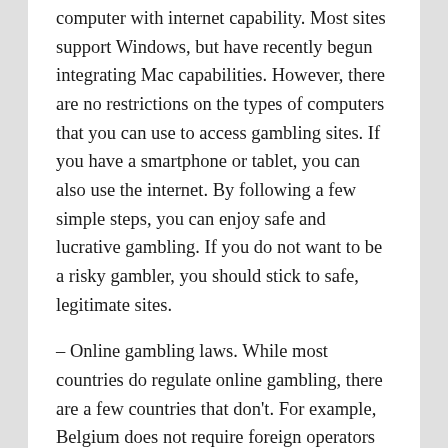computer with internet capability. Most sites support Windows, but have recently begun integrating Mac capabilities. However, there are no restrictions on the types of computers that you can use to access gambling sites. If you have a smartphone or tablet, you can also use the internet. By following a few simple steps, you can enjoy safe and lucrative gambling. If you do not want to be a risky gambler, you should stick to safe, legitimate sites.
– Online gambling laws. While most countries do regulate online gambling, there are a few countries that don't. For example, Belgium does not require foreign operators to have a license to operate a casino in their country. Because of this, state-controlled gambling websites are not allowed to operate in the country. Because of this, they cannot prosecute foreign operators. Instead, they can only block their sites, which means players in these countries can access any website without any problems.